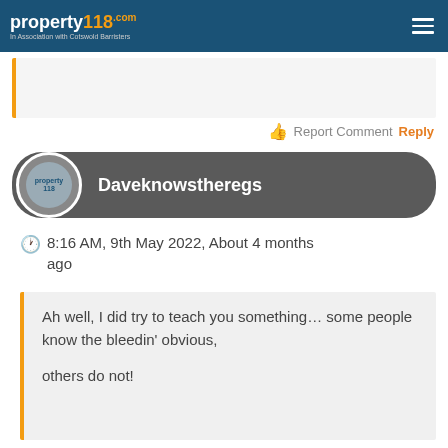property118.com | In Association with Cotswold Barristers
Report Comment Reply
Daveknowstheregs
8:16 AM, 9th May 2022, About 4 months ago
Ah well, I did try to teach you something… some people know the bleedin' obvious,

others do not!